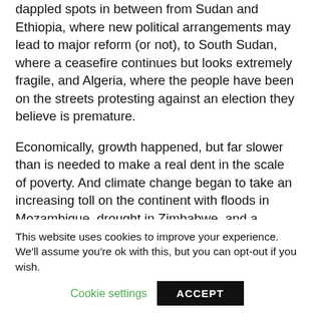dappled spots in between from Sudan and Ethiopia, where new political arrangements may lead to major reform (or not), to South Sudan, where a ceasefire continues but looks extremely fragile, and Algeria, where the people have been on the streets protesting against an election they believe is premature.
Economically, growth happened, but far slower than is needed to make a real dent in the scale of poverty. And climate change began to take an increasing toll on the continent with floods in Mozambique, drought in Zimbabwe, and a growing scarcity of fertile land in the Sahel for the growing populations of those countries. Climate change may not yet be the top policy priority for many in Africa, but – as in Australia
This website uses cookies to improve your experience. We'll assume you're ok with this, but you can opt-out if you wish.
Cookie settings | ACCEPT